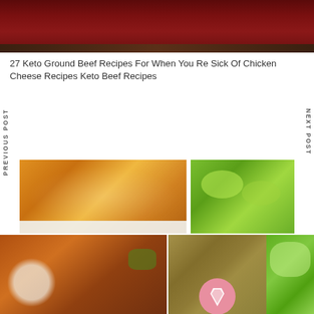[Figure (photo): Close-up of a dark red/maroon bowl or pot, partially cropped at the top of the page]
27 Keto Ground Beef Recipes For When You Re Sick Of Chicken Cheese Recipes Keto Beef Recipes
PREVIOUS POST
NEXT POST
[Figure (photo): Top row left: roasted or fried sweet potato cubes on a white plate]
[Figure (photo): Top row right: lettuce wraps with meat filling from above]
[Figure (photo): Bottom row left: fried chicken pieces with lemon and herbs on a white plate]
[Figure (photo): Bottom row center: shrimp scampi with zucchini noodles and lemon in a cast iron skillet]
[Figure (photo): Bottom row right: lettuce wraps with ground meat filling, green onions, on white plate]
[Figure (logo): Pinterest share button icon (pink/salmon colored bookmark/pin icon)]